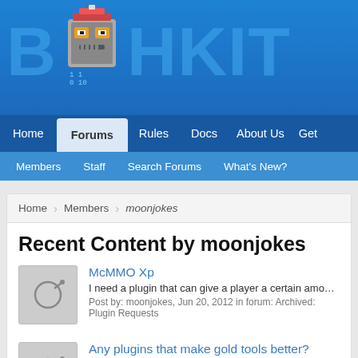[Figure (screenshot): Bukkit forum website header with pixel robot logo and navigation bar showing Home, Forums, Rules, Docs, About Us, Get tabs, and sub-navigation with Members, Staff, Search Forums, What's New?]
Home › Members › moonjokes
Recent Content by moonjokes
McMMO Xp
I need a plugin that can give a player a certain amount of xp each time th
Post by: moonjokes, Jun 20, 2012 in forum: Archived: Plugin Requests
Any plugins that make gold tools better?
http://dev.bukkit.org/server-mods/autorepair/ You can use this if you have
Post by: moonjokes, Jun 13, 2012 in forum: Archived: Plugin Requests